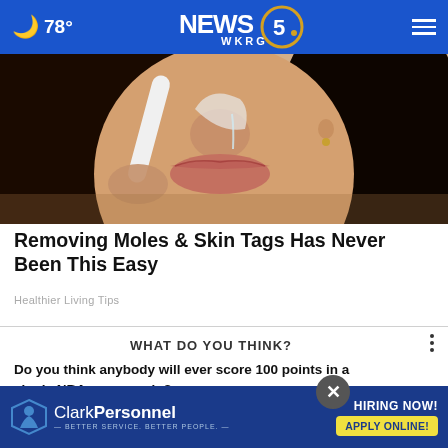🌙 78° NEWS 5 WKRG
[Figure (photo): Close-up photo of a woman's lower face and neck, holding a white device near her face. Black hair visible. Beauty/skincare context.]
Removing Moles & Skin Tags Has Never Been This Easy
Healthier Living Tips
WHAT DO YOU THINK?
Do you think anybody will ever score 100 points in a single NBA game again?
[Figure (logo): Clark Personnel advertisement banner. Logo with person icon. Text: HIRING NOW! APPLY ONLINE! — BETTER SERVICE. BETTER PEOPLE.]